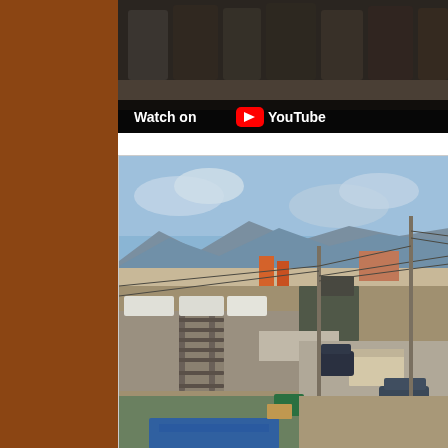[Figure (screenshot): Top portion of a YouTube video thumbnail showing people standing, with a 'Watch on YouTube' overlay at the bottom left of the video frame.]
[Figure (photo): Aerial or elevated view of an industrial area with railroad tracks running through the middle, utility poles with power lines, mountains in the background under a partly cloudy sky, trucks and vehicles parked nearby, and a blue tarp visible in the foreground.]